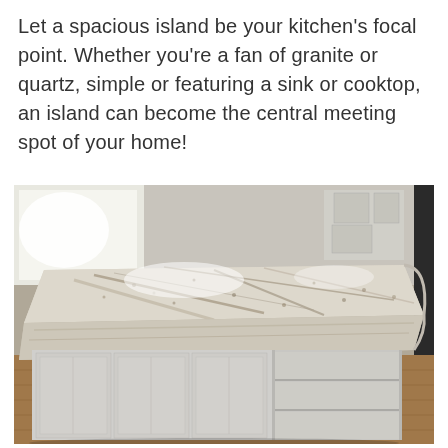Let a spacious island be your kitchen's focal point. Whether you're a fan of granite or quartz, simple or featuring a sink or cooktop, an island can become the central meeting spot of your home!
[Figure (photo): A large kitchen island with a polished granite countertop featuring white, beige, and gray veining. The island has white/gray cabinet base with panel doors on the left side and open shelving on the right. The countertop has rounded corners. Bright window light reflects off the surface. Hardwood flooring visible underneath. Kitchen cabinets visible in the background.]